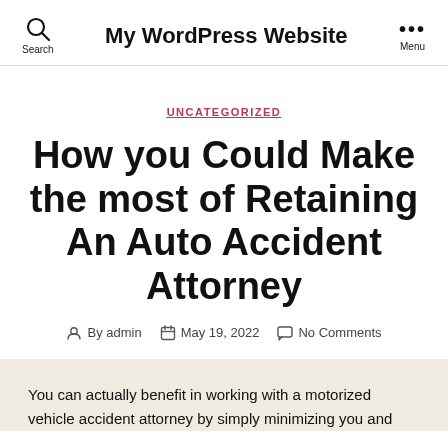My WordPress Website
UNCATEGORIZED
How you Could Make the most of Retaining An Auto Accident Attorney
By admin   May 19, 2022   No Comments
You can actually benefit in working with a motorized vehicle accident attorney by simply minimizing you and